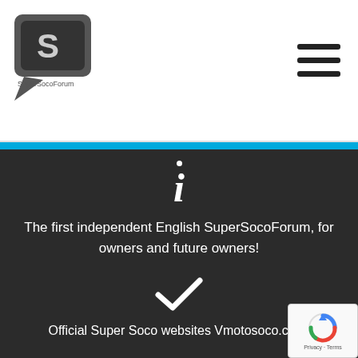[Figure (logo): SuperSocoForum logo - speech bubble with S letter icon and SuperSocoForum text]
[Figure (other): Hamburger menu icon with three horizontal lines]
The first independent English SuperSocoForum, for owners and future owners!
Official Super Soco websites Vmotosoco.com,